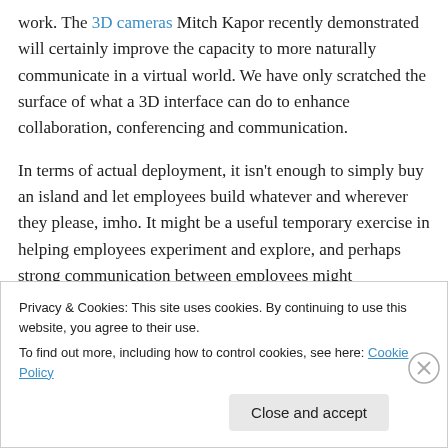work. The 3D cameras Mitch Kapor recently demonstrated will certainly improve the capacity to more naturally communicate in a virtual world. We have only scratched the surface of what a 3D interface can do to enhance collaboration, conferencing and communication.
In terms of actual deployment, it isn't enough to simply buy an island and let employees build whatever and wherever they please, imho. It might be a useful temporary exercise in helping employees experiment and explore, and perhaps strong communication between employees might
Privacy & Cookies: This site uses cookies. By continuing to use this website, you agree to their use.
To find out more, including how to control cookies, see here: Cookie Policy